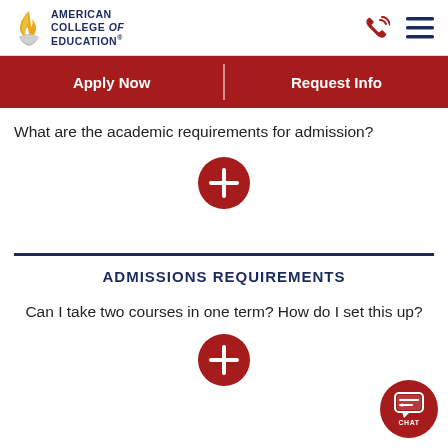[Figure (logo): American College of Education logo with flame icon and text]
Apply Now
Request Info
What are the academic requirements for admission?
[Figure (other): Red circular plus/expand button]
ADMISSIONS REQUIREMENTS
Can I take two courses in one term? How do I set this up?
[Figure (other): Red circular expand button at bottom and red circular chat button in bottom right corner]